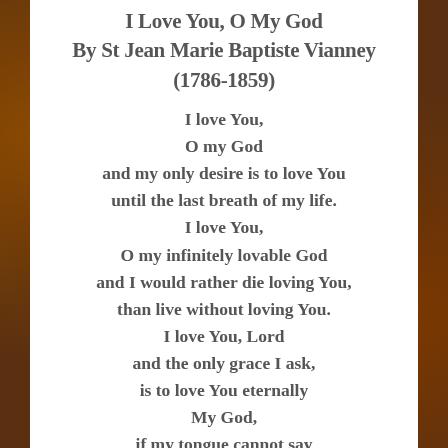I Love You, O My God
By St Jean Marie Baptiste Vianney
(1786-1859)
I love You,
O my God
and my only desire is to love You
until the last breath of my life.
I love You,
O my infinitely lovable God
and I would rather die loving You,
than live without loving You.
I love You, Lord
and the only grace I ask,
is to love You eternally
My God,
if my tongue cannot say